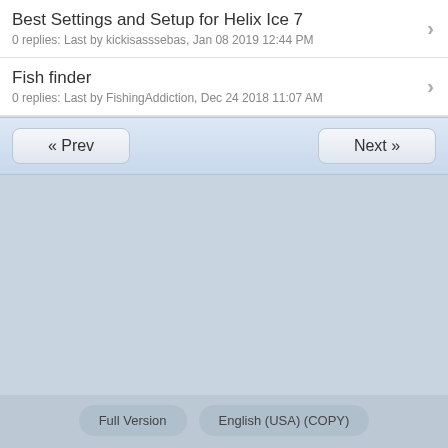Best Settings and Setup for Helix Ice 7
0 replies: Last by kickisasssebas, Jan 08 2019 12:44 PM
Fish finder
0 replies: Last by FishingAddiction, Dec 24 2018 11:07 AM
« Prev
Next »
Full Version   English (USA) (COPY)